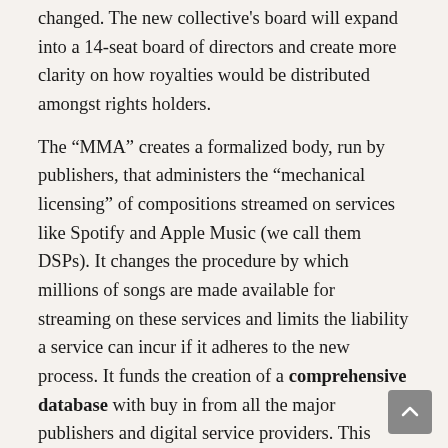changed. The new collective's board will expand into a 14-seat board of directors and create more clarity on how royalties would be distributed amongst rights holders.
The “MMA” creates a formalized body, run by publishers, that administers the “mechanical licensing” of compositions streamed on services like Spotify and Apple Music (we call them DSPs). It changes the procedure by which millions of songs are made available for streaming on these services and limits the liability a service can incur if it adheres to the new process. It funds the creation of a comprehensive database with buy in from all the major publishers and digital service providers. This would be the first of its kind that has active participation from the major publishers, representing a vast majority of musical works. It also creates a new evidentiary standard by which the performance rights organizations ASCAP and BMI can argue better rates for the performance of musical works on DSPs.